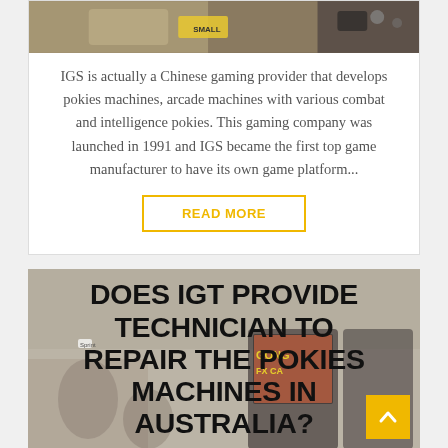[Figure (photo): Top portion of a gaming machine card showing a slot/arcade machine image cropped at top]
IGS is actually a Chinese gaming provider that develops pokies machines, arcade machines with various combat and intelligence pokies. This gaming company was launched in 1991 and IGS became the first top game manufacturer to have its own game platform...
READ MORE
[Figure (photo): Background photo of a gaming arcade/casino floor with colorful gaming machines and people]
DOES IGT PROVIDE TECHNICIAN TO REPAIR THE POKIES MACHINES IN AUSTRALIA?